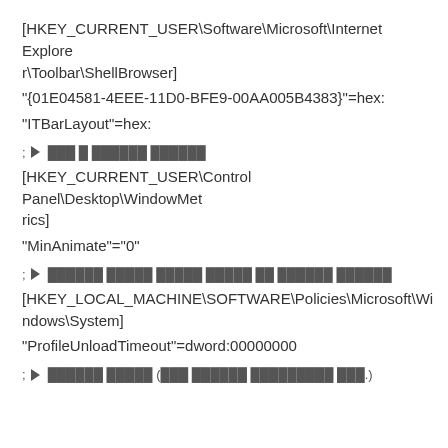[HKEY_CURRENT_USER\Software\Microsoft\Internet Explorer\Toolbar\ShellBrowser]
"{01E04581-4EEE-11D0-BFE9-00AA005B4383}"=hex:
"ITBarLayout"=hex:
;► 댓글 및 댓글에서 댓글에
[HKEY_CURRENT_USER\Control Panel\Desktop\WindowMetrics]
"MinAnimate"="0"
;► 댓글에서 댓글에 댓글에 댓글에 댓글 댓글에서 댓글에
[HKEY_LOCAL_MACHINE\SOFTWARE\Policies\Microsoft\Windows\System]
"ProfileUnloadTimeout"=dword:00000000
;► 댓글에서 댓글에 (댓글 댓글에서 댓글에서에서 댓글.)